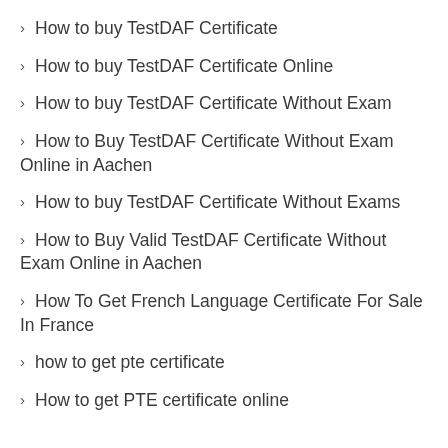How to buy TestDAF Certificate
How to buy TestDAF Certificate Online
How to buy TestDAF Certificate Without Exam
How to Buy TestDAF Certificate Without Exam Online in Aachen
How to buy TestDAF Certificate Without Exams
How to Buy Valid TestDAF Certificate Without Exam Online in Aachen
How To Get French Language Certificate For Sale In France
how to get pte certificate
How to get PTE certificate online